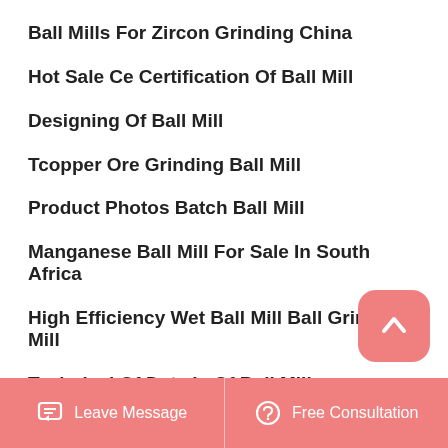Ball Mills For Zircon Grinding China
Hot Sale Ce Certification Of Ball Mill
Designing Of Ball Mill
Tcopper Ore Grinding Ball Mill
Product Photos Batch Ball Mill
Manganese Ball Mill For Sale In South Africa
High Efficiency Wet Ball Mill Ball Grinding Mill
Technical Of Data Is Of Ball Mill
Portable Ball Mills In The Philippines
Leave Message   Free Consultation